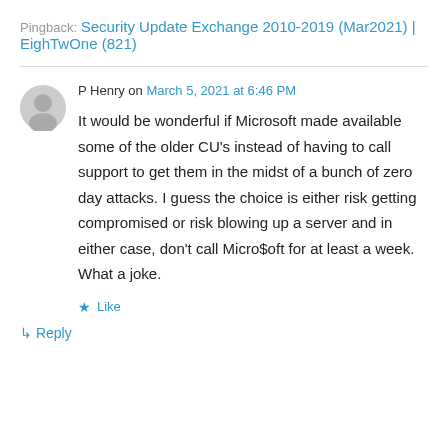Pingback: Security Update Exchange 2010-2019 (Mar2021) | EighTwOne (821)
P Henry on March 5, 2021 at 6:46 PM
It would be wonderful if Microsoft made available some of the older CU's instead of having to call support to get them in the midst of a bunch of zero day attacks. I guess the choice is either risk getting compromised or risk blowing up a server and in either case, don't call Micro$oft for at least a week. What a joke.
Like
Reply